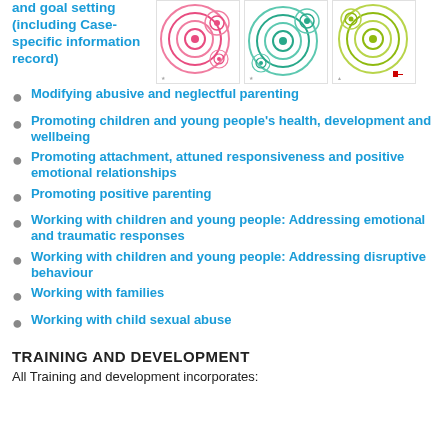and goal setting (including Case-specific information record)
[Figure (illustration): Three circular concentric ring diagrams in pink/red, teal/green, and yellow-green colors arranged side by side]
Modifying abusive and neglectful parenting
Promoting children and young people's health, development and wellbeing
Promoting attachment, attuned responsiveness and positive emotional relationships
Promoting positive parenting
Working with children and young people: Addressing emotional and traumatic responses
Working with children and young people: Addressing disruptive behaviour
Working with families
Working with child sexual abuse
TRAINING AND DEVELOPMENT
All Training and development incorporates: